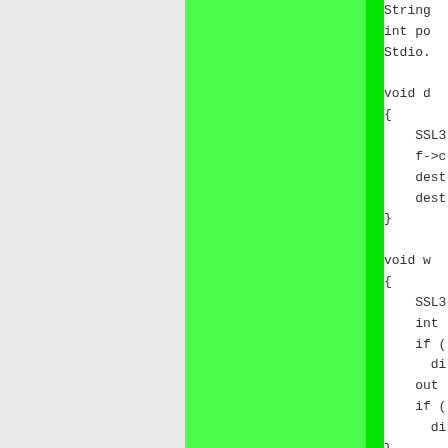[Figure (other): Left gray panel and center bright green panel with darker green vertical bar]
String
int po
Stdio.

void d
{
    SSL3
    f->c
    dest
    dest
}

void w
{
    SSL3
    int
    if (
      di
    out
    if (
      di
}

void r
{
    SSL3
    in +
    str
    str

    if (